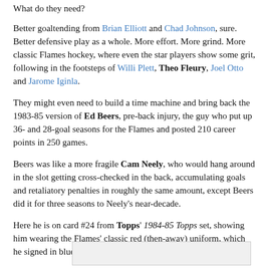What do they need?
Better goaltending from Brian Elliott and Chad Johnson, sure. Better defensive play as a whole. More effort. More grind. More classic Flames hockey, where even the star players show some grit, following in the footsteps of Willi Plett, Theo Fleury, Joel Otto and Jarome Iginla.
They might even need to build a time machine and bring back the 1983-85 version of Ed Beers, pre-back injury, the guy who put up 36- and 28-goal seasons for the Flames and posted 210 career points in 250 games.
Beers was like a more fragile Cam Neely, who would hang around in the slot getting cross-checked in the back, accumulating goals and retaliatory penalties in roughly the same amount, except Beers did it for three seasons to Neely's near-decade.
Here he is on card #24 from Topps' 1984-85 Topps set, showing him wearing the Flames' classic red (then-away) uniform, which he signed in blue sharpie:
[Figure (other): Bottom portion of a trading card image, partially visible at the bottom of the page.]